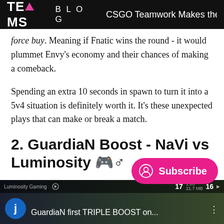TEAMS BLOG  CSGO Teamwork Makes the D…
force buy. Meaning if Fnatic wins the round - it would plummet Envy's economy and their chances of making a comeback.
Spending an extra 10 seconds in spawn to turn it into a 5v4 situation is definitely worth it. It's these unexpected plays that can make or break a match.
2. GuardiaN Boost - NaVi vs Luminosity 🎮♂
[Figure (screenshot): Video thumbnail showing a CS:GO match between Luminosity Gaming and NaVi with overlay text 'GuardiaN first TRIPLE BOOST on...' and a subscribe button overlay]